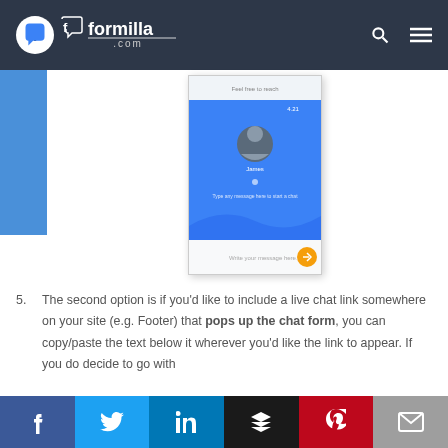formilla.com
[Figure (screenshot): Formilla live chat widget screenshot showing a blue chat interface with an avatar and message input field]
5. The second option is if you'd like to include a live chat link somewhere on your site (e.g. Footer) that pops up the chat form, you can copy/paste the text below it wherever you'd like the link to appear. If you do decide to go with
Social share bar: Facebook, Twitter, LinkedIn, Buffer, Pinterest, Email